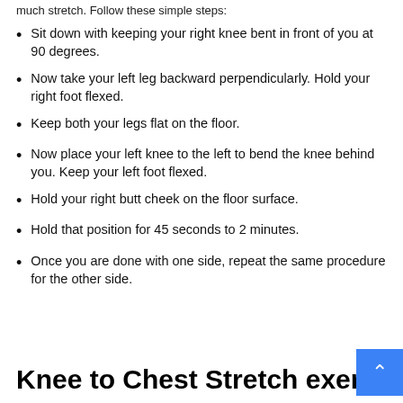much stretch. Follow these simple steps:
Sit down with keeping your right knee bent in front of you at 90 degrees.
Now take your left leg backward perpendicularly. Hold your right foot flexed.
Keep both your legs flat on the floor.
Now place your left knee to the left to bend the knee behind you. Keep your left foot flexed.
Hold your right butt cheek on the floor surface.
Hold that position for 45 seconds to 2 minutes.
Once you are done with one side, repeat the same procedure for the other side.
Knee to Chest Stretch exercise